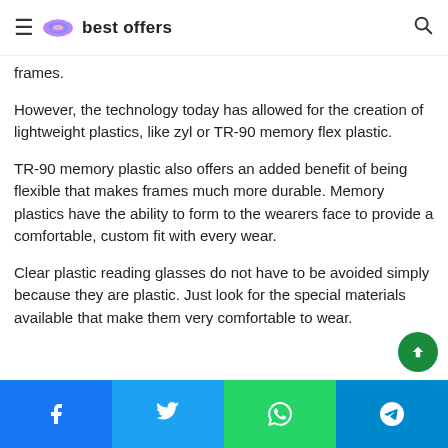best offers
frames.
However, the technology today has allowed for the creation of lightweight plastics, like zyl or TR-90 memory flex plastic.
TR-90 memory plastic also offers an added benefit of being flexible that makes frames much more durable. Memory plastics have the ability to form to the wearers face to provide a comfortable, custom fit with every wear.
Clear plastic reading glasses do not have to be avoided simply because they are plastic. Just look for the special materials available that make them very comfortable to wear.
Facebook | Twitter | WhatsApp | Telegram